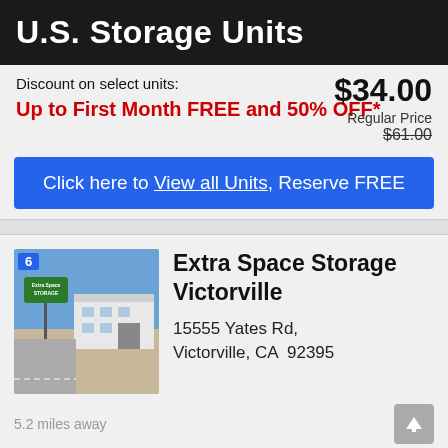U.S. Storage Units
$34.00
Discount on select units:
Regular Price $61.00
Up to First Month FREE and 50% OFF*
Click here to View all Units, Reserve FREE
Extra Space Storage Victorville
15555 Yates Rd, Victorville, CA  92395
[Figure (photo): Exterior photo of Extra Space Storage facility in Victorville with sign, numbered marker 6]
5.2 miles away
Storage units as low as:
Web Price
$70.00